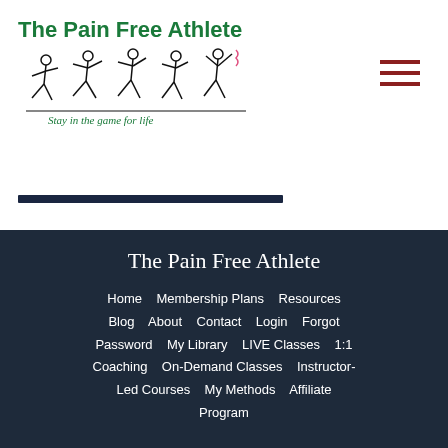[Figure (logo): The Pain Free Athlete logo with green text title, stick figure athletes in motion, and italic tagline 'Stay in the game for life']
[Figure (other): Hamburger menu icon — three horizontal dark red lines]
The Pain Free Athlete
Home
Membership Plans
Resources
Blog
About
Contact
Login
Forgot Password
My Library
LIVE Classes
1:1 Coaching
On-Demand Classes
Instructor-Led Courses
My Methods
Affiliate
Program